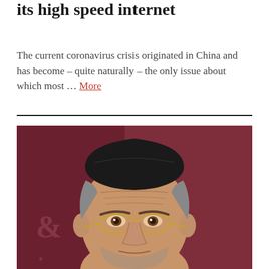its high speed internet
The current coronavirus crisis originated in China and has become – quite naturally – the only issue about which most … More
[Figure (photo): Close-up portrait of an elderly man wearing a black kippah and gold-framed glasses, against a dark red background with a partial ampersand symbol visible on the left side.]